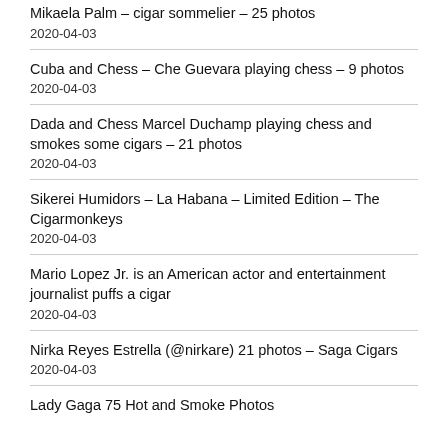Mikaela Palm – cigar sommelier – 25 photos
2020-04-03
Cuba and Chess – Che Guevara playing chess – 9 photos
2020-04-03
Dada and Chess Marcel Duchamp playing chess and smokes some cigars – 21 photos
2020-04-03
Sikerei Humidors – La Habana – Limited Edition – The Cigarmonkeys
2020-04-03
Mario Lopez Jr. is an American actor and entertainment journalist puffs a cigar
2020-04-03
Nirka Reyes Estrella (@nirkare) 21 photos – Saga Cigars
2020-04-03
Lady Gaga 75 Hot and Smoke Photos